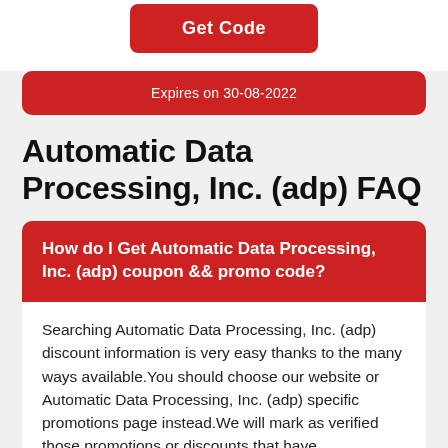[Figure (other): Get Code button — red rounded rectangle with white bold text]
Expires on 30-08-2022
Automatic Data Processing, Inc. (adp) FAQ
How do I Get Automatic Data Processing, Inc. (adp) coupon && promo code?
Searching Automatic Data Processing, Inc. (adp) discount information is very easy thanks to the many ways available.You should choose our website or Automatic Data Processing, Inc. (adp) specific promotions page instead.We will mark as verified those promotions or discounts that have